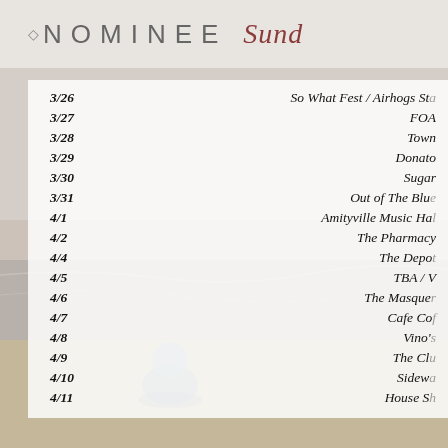◇ NOMINEE  Sund...
| Date | Venue |
| --- | --- |
| 3/26 | So What Fest / Airhogs Sta... |
| 3/27 | FOA... |
| 3/28 | Town... |
| 3/29 | Donato... |
| 3/30 | Sugar ... |
| 3/31 | Out of The Blu... |
| 4/1 | Amityville Music Ha... |
| 4/2 | The Pharmacy... |
| 4/4 | The Depo... |
| 4/5 | TBA / V... |
| 4/6 | The Masque... |
| 4/7 | Cafe Co... |
| 4/8 | Vino'... |
| 4/9 | The Cl... |
| 4/10 | Sidew... |
| 4/11 | House S... |
[Figure (photo): Ocean beach scene with silhouette of a person sitting, sandy shoreline and waves in background. Serves as decorative background.]